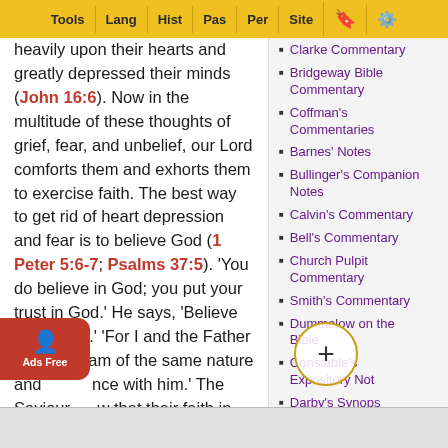Tools | Lang | Hist | Pas | Per | Site
heavily upon their hearts and greatly depressed their minds (John 16:6). Now in the multitude of these thoughts of grief, fear, and unbelief, our Lord comforts them and exhorts them to exercise faith. The best way to get rid of heart depression and fear is to believe God (1 Peter 5:6-7; Psalms 37:5). 'You do believe in God; you put your trust in God.' He says, 'Believe also in me.' 'For I and the Father are one. I am of the same nature and essence with him.' The Saviour know that their faith in him as Mess was y
Clarke Commentary
Bridgeway Bible Commentary
Coffman's Commentaries
Barnes' Notes
Bullinger's Companion Notes
Calvin's Commentary
Bell's Commentary
Church Pulpit Commentary
Smith's Commentary
Dummelow on the Bible
Constable's Expository Notes
Darby's Synopsis
Ellicott's Commentary
Expository Dictionary